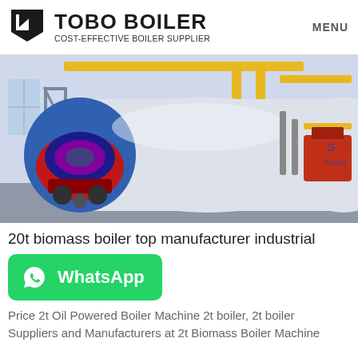TOBO BOILER — COST-EFFECTIVE BOILER SUPPLIER | MENU
[Figure (photo): Industrial gas/oil fired boiler in a factory setting, showing a large cylindrical white and blue boiler with red burner assembly, yellow pipes overhead, and metal pipe scaffolding.]
20t biomass boiler top manufacturer industrial
[Figure (other): WhatsApp contact button — green rounded rectangle with WhatsApp phone icon and 'WhatsApp' text in white.]
Price 2t Oil Powered Boiler Machine 2t boiler, 2t boiler Suppliers and Manufacturers at 2t Biomass Boiler Machine